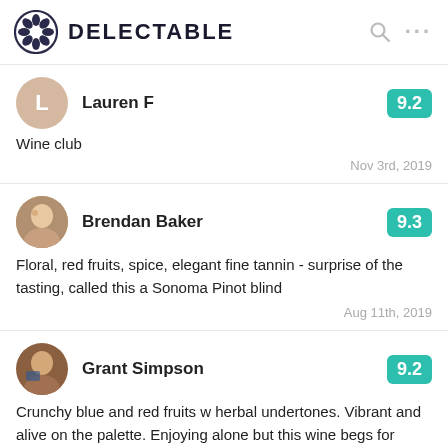DELECTABLE
Lauren F
9.2
Wine club
Nov 3rd, 2019
Brendan Baker
9.3
Floral, red fruits, spice, elegant fine tannin - surprise of the tasting, called this a Sonoma Pinot blind
Aug 11th, 2019
Grant Simpson
9.2
Crunchy blue and red fruits w herbal undertones. Vibrant and alive on the palette. Enjoying alone but this wine begs for food.
Jul 4th, 2019